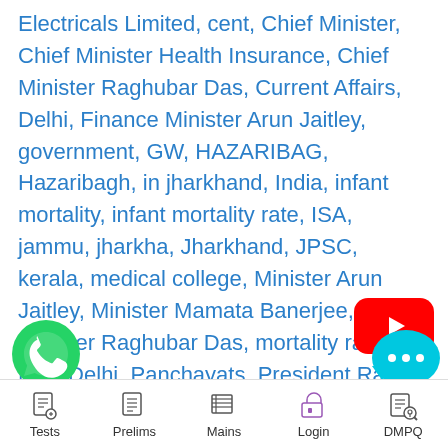Electricals Limited, cent, Chief Minister, Chief Minister Health Insurance, Chief Minister Raghubar Das, Current Affairs, Delhi, Finance Minister Arun Jaitley, government, GW, HAZARIBAG, Hazaribagh, in jharkhand, India, infant mortality, infant mortality rate, ISA, jammu, jharkha, Jharkhand, JPSC, kerala, medical college, Minister Arun Jaitley, Minister Mamata Banerjee, Minister Raghubar Das, mortality rate, New Delhi, Panchayats, President Ram Nath Kovind, Raghubar Das, Ram Nath Kovind, RU, Shri n Nath Kovind, South Africa, State, the
[Figure (logo): YouTube play button red icon]
[Figure (logo): WhatsApp green phone icon]
[Figure (logo): Chat bubble icon with three dots]
Tests | Prelims | Mains | Login | DMPQ